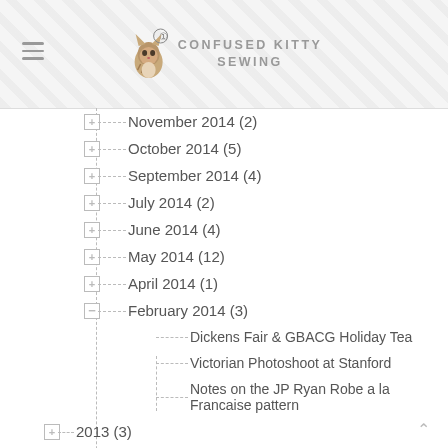Confused Kitty Sewing
November 2014 (2)
October 2014 (5)
September 2014 (4)
July 2014 (2)
June 2014 (4)
May 2014 (12)
April 2014 (1)
February 2014 (3)
Dickens Fair & GBACG Holiday Tea
Victorian Photoshoot at Stanford
Notes on the JP Ryan Robe a la Francaise pattern
2013 (3)
2012 (18)
2011 (34)